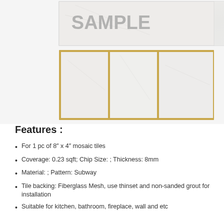[Figure (photo): Product image showing marble/white subway mosaic tile samples. Top portion shows a tile with 'SAMPLE' text stamped on it in grey. Below is a wider panel showing three subway tiles in a row with gold/brass border framing.]
Features :
For 1 pc of 8″ x 4″ mosaic tiles
Coverage: 0.23 sqft; Chip Size: ; Thickness: 8mm
Material: ; Pattern: Subway
Tile backing: Fiberglass Mesh, use thinset and non-sanded grout for installation
Suitable for kitchen, bathroom, fireplace, wall and etc